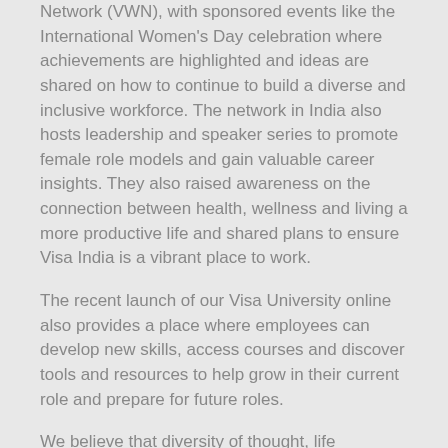Network (VWN), with sponsored events like the International Women's Day celebration where achievements are highlighted and ideas are shared on how to continue to build a diverse and inclusive workforce. The network in India also hosts leadership and speaker series to promote female role models and gain valuable career insights. They also raised awareness on the connection between health, wellness and living a more productive life and shared plans to ensure Visa India is a vibrant place to work.
The recent launch of our Visa University online also provides a place where employees can develop new skills, access courses and discover tools and resources to help grow in their current role and prepare for future roles.
We believe that diversity of thought, life experience, cultural perspectives and talents is what makes our company successful. Visa India is still growing and we're looking for innovators, collaborators, people who care about the community they live and work